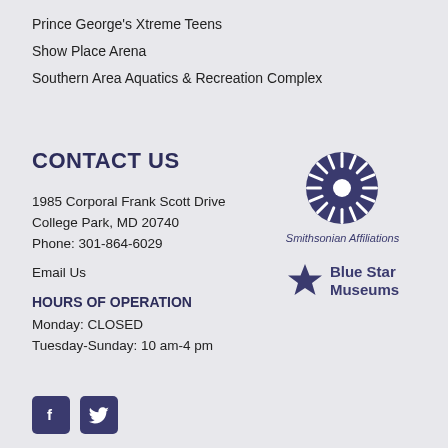Prince George's Xtreme Teens
Show Place Arena
Southern Area Aquatics & Recreation Complex
CONTACT US
1985 Corporal Frank Scott Drive
College Park, MD 20740
Phone: 301-864-6029
Email Us
HOURS OF OPERATION
Monday: CLOSED
Tuesday-Sunday: 10 am-4 pm
[Figure (logo): Smithsonian Affiliations logo — circular sunburst icon above the text 'Smithsonian Affiliations']
[Figure (logo): Blue Star Museums logo — a blue star to the left of bold text reading 'Blue Star Museums']